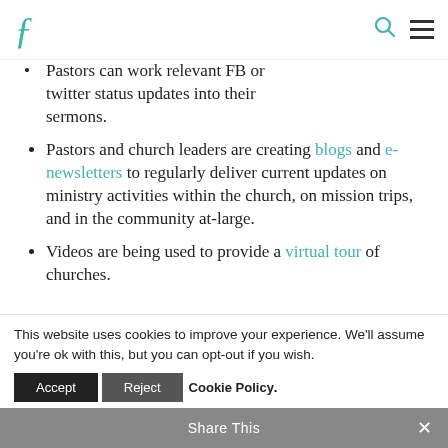F [logo] [search icon] [menu icon]
Pastors can work relevant FB or twitter status updates into their sermons.
Pastors and church leaders are creating blogs and e-newsletters to regularly deliver current updates on ministry activities within the church, on mission trips, and in the community at-large.
Videos are being used to provide a virtual tour of churches.
This website uses cookies to improve your experience. We'll assume you're ok with this, but you can opt-out if you wish.
Accept  Reject  Cookie Policy
Share This